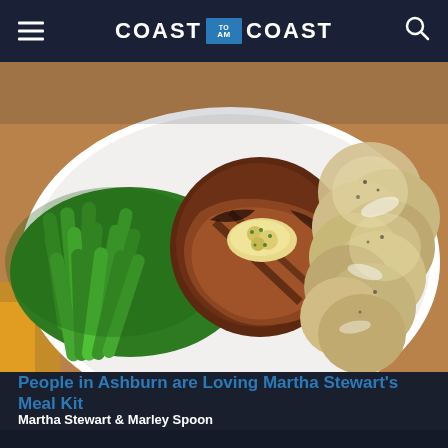COAST TO AM COAST
[Figure (photo): A white plate with grilled steak topped with herb butter, green beans, and roasted potato slices, on a wooden surface.]
People in Ashburn are Loving Martha Stewart's Meal Kit
Martha Stewart & Marley Spoon